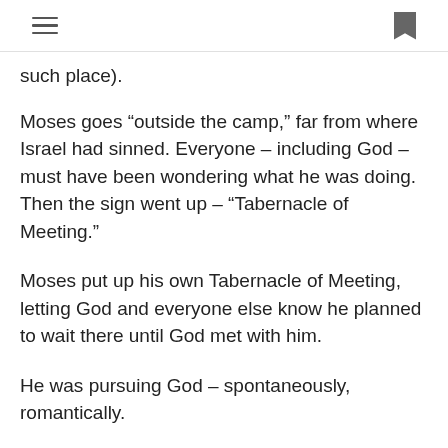[hamburger menu icon] [bookmark icon]
such place).
Moses goes “outside the camp,” far from where Israel had sinned. Everyone – including God – must have been wondering what he was doing. Then the sign went up – “Tabernacle of Meeting.”
Moses put up his own Tabernacle of Meeting, letting God and everyone else know he planned to wait there until God met with him.
He was pursuing God – spontaneously, romantically.
Exo 33:7  Moses took his tent and pitched it